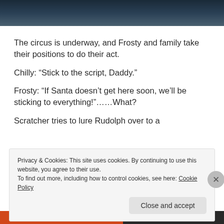[Figure (photo): Dark blue/teal toned image at top of page, appears to be a winter or night scene]
The circus is underway, and Frosty and family take their positions to do their act.
Chilly: “Stick to the script, Daddy.”
Frosty: “If Santa doesn’t get here soon, we’ll be sticking to everything!”……What?
Scratcher tries to lure Rudolph over to a
Privacy & Cookies: This site uses cookies. By continuing to use this website, you agree to their use.
To find out more, including how to control cookies, see here: Cookie Policy
Close and accept